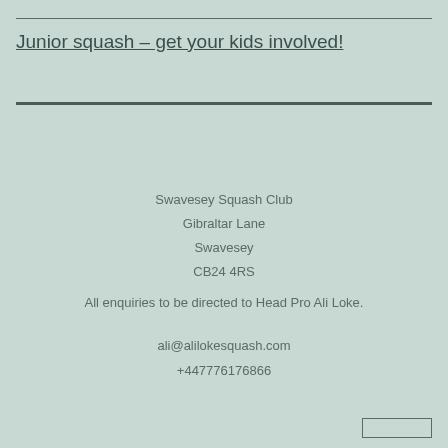Junior squash – get your kids involved!
Swavesey Squash Club
Gibraltar Lane
Swavesey
CB24 4RS
All enquiries to be directed to Head Pro Ali Loke.
ali@alilokesquash.com
+447776176866